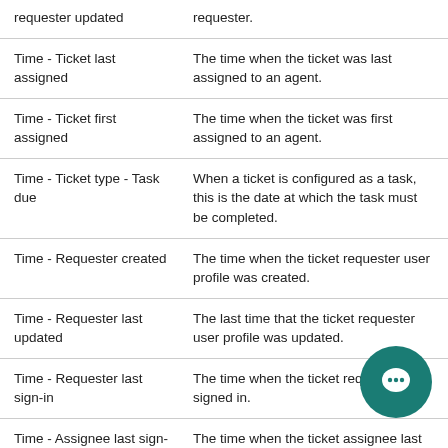| requester updated | requester. |
| Time - Ticket last assigned | The time when the ticket was last assigned to an agent. |
| Time - Ticket first assigned | The time when the ticket was first assigned to an agent. |
| Time - Ticket type - Task due | When a ticket is configured as a task, this is the date at which the task must be completed. |
| Time - Requester created | The time when the ticket requester user profile was created. |
| Time - Requester last updated | The last time that the ticket requester user profile was updated. |
| Time - Requester last sign-in | The time when the ticket requester last signed in. |
| Time - Assignee last sign-in | The time when the ticket assignee last signed in. |
| Time - Requester organization created | The time when the ticket requester organization was created. |